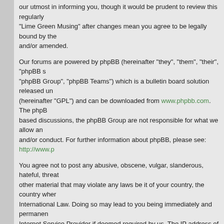our utmost in informing you, though it would be prudent to review this regularly yourself as your continued usage of "Lime Green Musing" after changes mean you agree to be legally bound by these terms as they are updated and/or amended.
Our forums are powered by phpBB (hereinafter "they", "them", "their", "phpBB software", "www.phpbb.com", "phpBB Group", "phpBB Teams") which is a bulletin board solution released under the "General Public License" (hereinafter "GPL") and can be downloaded from www.phpbb.com. The phpBB software only facilitates internet based discussions, the phpBB Group are not responsible for what we allow and/or disallow as permissible content and/or conduct. For further information about phpBB, please see: http://www.ph...
You agree not to post any abusive, obscene, vulgar, slanderous, hateful, threatening, sexually-orientated or any other material that may violate any laws be it of your country, the country where "Lime Green Musing" is hosted or International Law. Doing so may lead to you being immediately and permanently banned, with notification of your Internet Service Provider if deemed required by us. The IP address of all posts are recorded to aid in enforcing these conditions. You agree that "Lime Green Musing" have the right to remove, edit, move or close any topic at any time should we see fit. As a user you agree to any information you have entered to being stored in a database. While this information will not be disclosed to any third party without your consent, neither "Lime Green Musing" nor phpBB shall be held responsible for any hacking attempt that may lead to t...
I agree to these terms    I do not agree to these t...
Board index    The team • Del...
Powered by phpBB © 2000, 2002, 2005, 2007 phpBB G...
Spring Element design by Free Forum